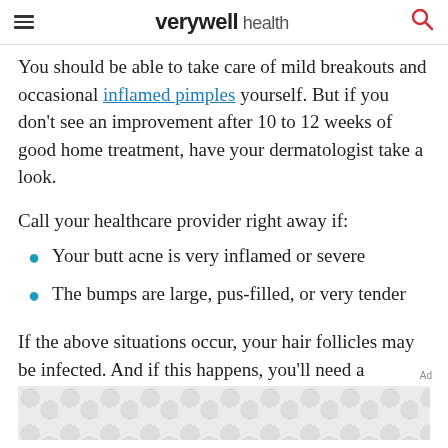verywell health
You should be able to take care of mild breakouts and occasional inflamed pimples yourself. But if you don't see an improvement after 10 to 12 weeks of good home treatment, have your dermatologist take a look.
Call your healthcare provider right away if:
Your butt acne is very inflamed or severe
The bumps are large, pus-filled, or very tender
If the above situations occur, your hair follicles may be infected. And if this happens, you'll need a
[Figure (other): Advertisement banner with grey circular pattern tiles]